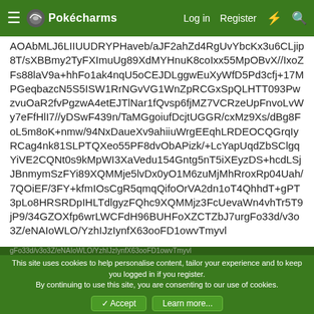Pokécharms — Log in  Register
AOAbMLJ6LIIUUDRYPHaveb/aJF2ahZd4RgUvYbcKx3u6CLjip8T/sXBBmy2TyFXImuUg89XdMYHnuK8coIxx55MpOBvX//IxoZFs88laV9a+hhFo1ak4nqU5oCEJDLggwEuXyWfD5Pd3cfj+17MPGeqbazcN5S5ISW1RrNGvVG1WnZpRCGxSpQLHTT093PwzvuOaR2fvPgzwA4etEJTlNar1fQvsp6fjMZ7VCRzeUpFnvoLvWy7eFfHlI7//yDSwF439n/TaMGgoiufDcjtUGGR/cxMz9Xs/dBg8FoL5m8oK+nmw/94NxDaueXv9ahiiuWrgEEqhLRDEOCQGrqIyRCag4nk81SLPTQXeo55PF8dvObAPizk/+LcYapUqdZbSClgqYiVE2CQNt0s9kMpWI3XaVedu154Gntg5nT5iXEyzDS+hcdLSjJBnmymSzFYi89XQMMje5lvDx0yO1M6zuMjMhRroxRp04Uah/7QOiEF/3FY+kfmIOsCgR5qmqQifoOrVA2dn1oT4QhhdT+gPT3pLo8HRSRDpIHLTdlgyzFQhc9XQMMjz3FcUevaWn4vhTr5T9jP9/34GZOXfp6wrLWCFdH96BUHFoXZCTZbJ7ur
gFo33d/v3o3Z/eNAIoWLO/YzhIJzIynfX63ooFD1owvTmyvl
This site uses cookies to help personalise content, tailor your experience and to keep you logged in if you register.
By continuing to use this site, you are consenting to our use of cookies.